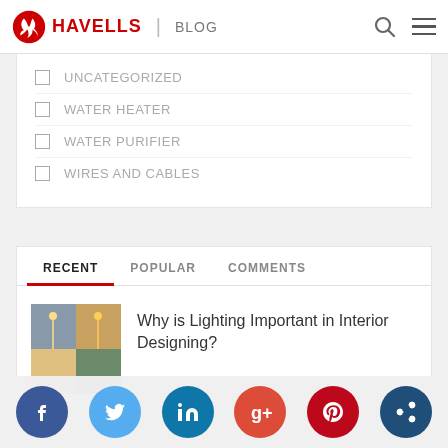HAVELLS | BLOG
UNCATEGORIZED
WATER HEATER
WATER PURIFIER
WIRES AND CABLES
RECENT  POPULAR  COMMENTS
Why is Lighting Important in Interior Designing?
[Figure (screenshot): Thumbnail image showing interior lighting scenes]
Social share buttons: Facebook, Twitter, LinkedIn, Google+, Pinterest, Share